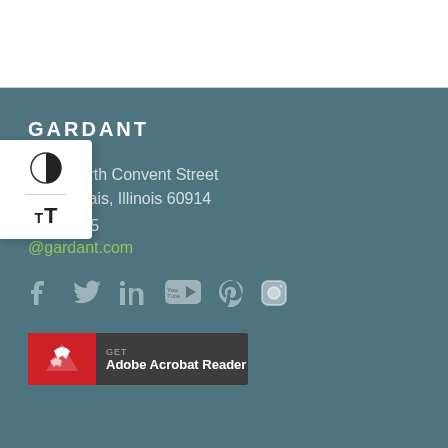[Figure (screenshot): White header bar at top of page with thin gray divider line]
GARDANT
4882 North Convent Street
Borbonnais, Illinois 60914
.882.1495
@gardant.com
[Figure (infographic): Row of social media icons: Facebook, Twitter, LinkedIn, YouTube, Pinterest, Instagram]
[Figure (logo): Get Adobe Acrobat Reader badge with red Adobe logo icon and dark gray background]
[Figure (infographic): Accessibility widget overlay showing contrast toggle and text size controls (T+ icons)]